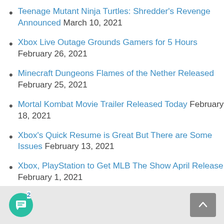Teenage Mutant Ninja Turtles: Shredder's Revenge Announced March 10, 2021
Xbox Live Outage Grounds Gamers for 5 Hours February 26, 2021
Minecraft Dungeons Flames of the Nether Released February 25, 2021
Mortal Kombat Movie Trailer Released Today February 18, 2021
Xbox's Quick Resume is Great But There are Some Issues February 13, 2021
Xbox, PlayStation to Get MLB The Show April Release February 1, 2021
2